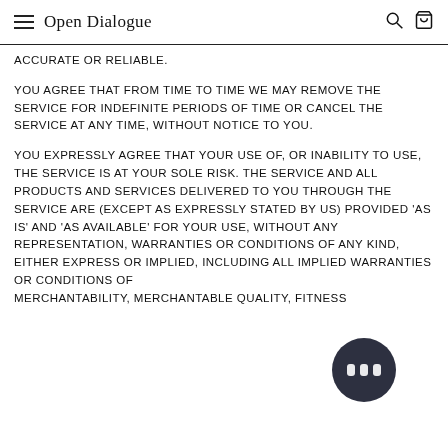Open Dialogue
ACCURATE OR RELIABLE.
YOU AGREE THAT FROM TIME TO TIME WE MAY REMOVE THE SERVICE FOR INDEFINITE PERIODS OF TIME OR CANCEL THE SERVICE AT ANY TIME, WITHOUT NOTICE TO YOU.
YOU EXPRESSLY AGREE THAT YOUR USE OF, OR INABILITY TO USE, THE SERVICE IS AT YOUR SOLE RISK. THE SERVICE AND ALL PRODUCTS AND SERVICES DELIVERED TO YOU THROUGH THE SERVICE ARE (EXCEPT AS EXPRESSLY STATED BY US) PROVIDED 'AS IS' AND 'AS AVAILABLE' FOR YOUR USE, WITHOUT ANY REPRESENTATION, WARRANTIES OR CONDITIONS OF ANY KIND, EITHER EXPRESS OR IMPLIED, INCLUDING ALL IMPLIED WARRANTIES OR CONDITIONS OF MERCHANTABILITY, MERCHANTABLE QUALITY, FITNESS